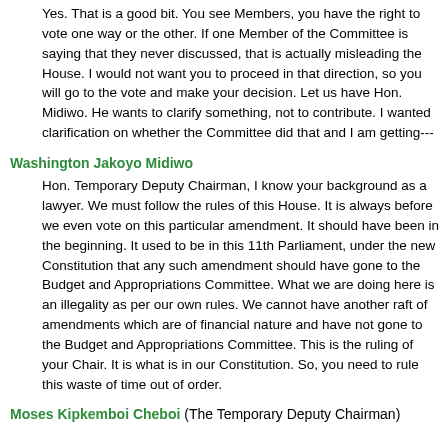Yes. That is a good bit. You see Members, you have the right to vote one way or the other. If one Member of the Committee is saying that they never discussed, that is actually misleading the House. I would not want you to proceed in that direction, so you will go to the vote and make your decision. Let us have Hon. Midiwo. He wants to clarify something, not to contribute. I wanted clarification on whether the Committee did that and I am getting---
Washington Jakoyo Midiwo
Hon. Temporary Deputy Chairman, I know your background as a lawyer. We must follow the rules of this House. It is always before we even vote on this particular amendment. It should have been in the beginning. It used to be in this 11th Parliament, under the new Constitution that any such amendment should have gone to the Budget and Appropriations Committee. What we are doing here is an illegality as per our own rules. We cannot have another raft of amendments which are of financial nature and have not gone to the Budget and Appropriations Committee. This is the ruling of your Chair. It is what is in our Constitution. So, you need to rule this waste of time out of order.
Moses Kipkemboi Cheboi (The Temporary Deputy Chairman)